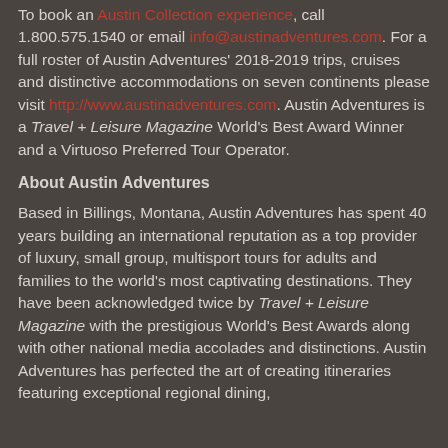To book an Austin Collection experience, call 1.800.575.1540 or email info@austinadventures.com. For a full roster of Austin Adventures' 2018-2019 trips, cruises and distinctive accommodations on seven continents please visit http://www.austinadventures.com. Austin Adventures is a Travel + Leisure Magazine World's Best Award Winner and a Virtuoso Preferred Tour Operator.
About Austin Adventures
Based in Billings, Montana, Austin Adventures has spent 40 years building an international reputation as a top provider of luxury, small group, multisport tours for adults and families to the world's most captivating destinations. They have been acknowledged twice by Travel + Leisure Magazine with the prestigious World's Best Awards along with other national media accolades and distinctions. Austin Adventures has perfected the art of creating itineraries featuring exceptional regional dining,